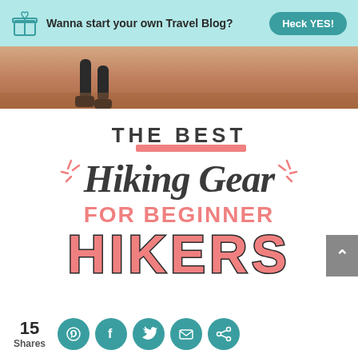Wanna start your own Travel Blog? Heck YES!
[Figure (photo): Photo strip showing hiking legs/boots on sandy trail]
THE BEST Hiking Gear FOR BEGINNER HIKERS
15 Shares
[Figure (infographic): Social sharing icons: Pinterest, Facebook, Twitter, Email, Share]